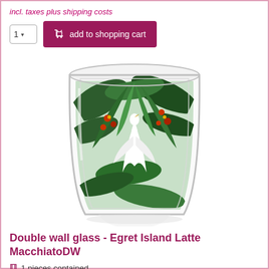incl. taxes plus shipping costs
[Figure (other): Quantity selector showing '1' with dropdown arrow and a purple 'add to shopping cart' button with cart icon]
[Figure (photo): A double-wall glass with a tropical jungle scene featuring an egret bird among green palm leaves and red berries, on a white background with a subtle shadow reflection]
Double wall glass - Egret Island Latte MacchiatoDW
1 pieces contained
item number: 60-4753.